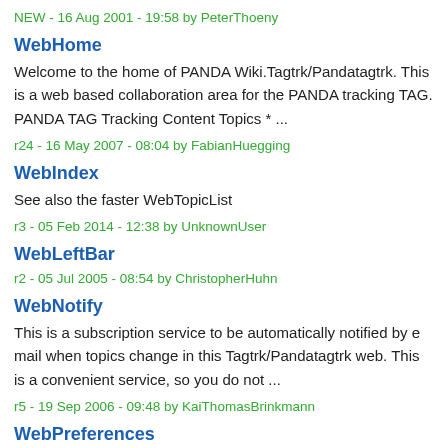NEW - 16 Aug 2001 - 19:58 by PeterThoeny
WebHome
Welcome to the home of PANDA Wiki.Tagtrk/Pandatagtrk. This is a web based collaboration area for the PANDA tracking TAG. PANDA TAG Tracking Content Topics * ...
r24 - 16 May 2007 - 08:04 by FabianHuegging
WebIndex
See also the faster WebTopicList
r3 - 05 Feb 2014 - 12:38 by UnknownUser
WebLeftBar
r2 - 05 Jul 2005 - 08:54 by ChristopherHuhn
WebNotify
This is a subscription service to be automatically notified by e mail when topics change in this Tagtrk/Pandatagtrk web. This is a convenient service, so you do not ...
r5 - 19 Sep 2006 - 09:48 by KaiThomasBrinkmann
WebPreferences